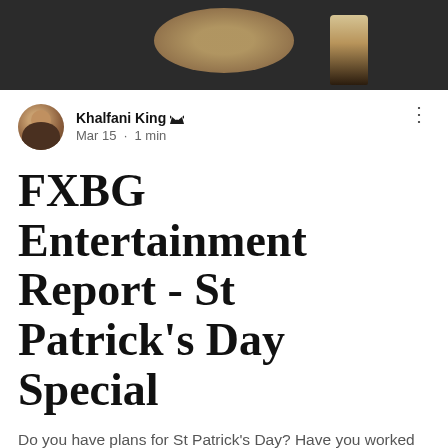[Figure (photo): Photo of food and drinks on a table, appearing as a dark banner image at the top of the article]
Khalfani King 👑
Mar 15 · 1 min
FXBG Entertainment Report - St Patrick's Day Special
Do you have plans for St Patrick's Day? Have you worked out where to watch the games for March Madness? Tap in to this week's FXBG Entertainment Report for look at Places to Go and